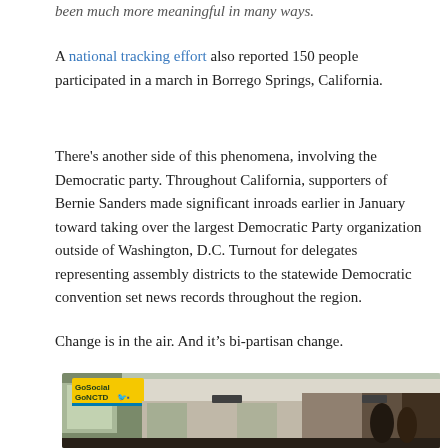been much more meaningful in many ways.
A national tracking effort also reported 150 people participated in a march in Borrego Springs, California.
There's another side of this phenomena, involving the Democratic party. Throughout California, supporters of Bernie Sanders made significant inroads earlier in January toward taking over the largest Democratic Party organization outside of Washington, D.C. Turnout for delegates representing assembly districts to the statewide Democratic convention set news records throughout the region.
Change is in the air. And it's bi-partisan change.
[Figure (photo): Interior of a public transit train/bus showing seats, windows, ceiling with a yellow GoSocial GoNCTD advertisement sign with Twitter bird icon and what appears to be a Facebook icon. The aisle extends toward the back of the vehicle.]